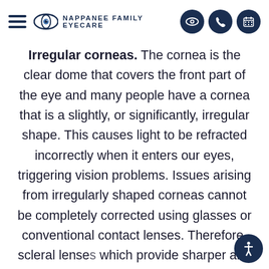Nappanee Family Eyecare
Irregular corneas. The cornea is the clear dome that covers the front part of the eye and many people have a cornea that is a slightly, or significantly, irregular shape. This causes light to be refracted incorrectly when it enters our eyes, triggering vision problems. Issues arising from irregularly shaped corneas cannot be completely corrected using glasses or conventional contact lenses. Therefore, scleral lenses which provide sharper and more accura